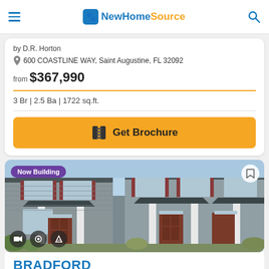NewHomeSource
by D.R. Horton
600 COASTLINE WAY, Saint Augustine, FL 32092
from $367,990
3 Br | 2.5 Ba | 1722 sq.ft.
Get Brochure
[Figure (photo): Exterior photo of townhome community with gray siding, red/brown doors, white columns, and landscaping. Now Building badge visible.]
BRADFORD